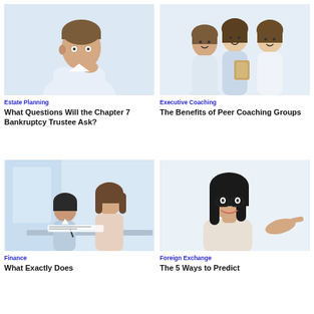[Figure (photo): Young man in white shirt, hand on chin, thinking pose, white background]
Estate Planning
What Questions Will the Chapter 7 Bankruptcy Trustee Ask?
[Figure (photo): Three smiling professional women, one holding a folder, white background]
Executive Coaching
The Benefits of Peer Coaching Groups
[Figure (photo): Man and woman sitting at a table, looking at documents, office setting]
Finance
What Exactly Does
[Figure (photo): Young woman with glasses smiling and pointing, white background]
Foreign Exchange
The 5 Ways to Predict